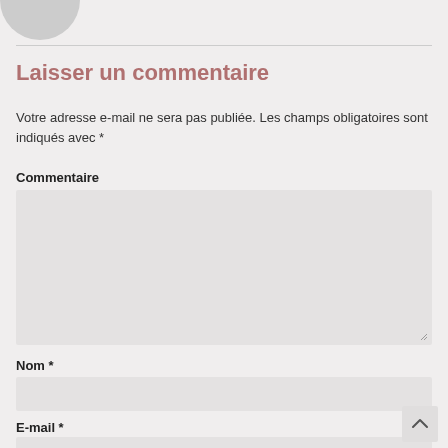[Figure (illustration): Partial circular avatar/profile image at top left]
Laisser un commentaire
Votre adresse e-mail ne sera pas publiée. Les champs obligatoires sont indiqués avec *
Commentaire
[Figure (screenshot): Empty textarea input box for comment]
Nom *
[Figure (screenshot): Empty text input box for name]
E-mail *
[Figure (screenshot): Partially visible empty text input box for email]